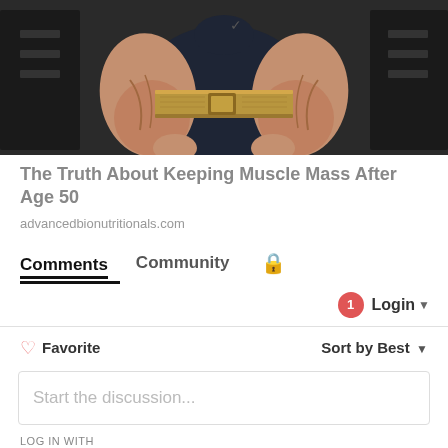[Figure (photo): A muscular person wearing a dark sleeveless shirt and a wide gold/metallic weightlifting belt, displaying large, veiny arms and forearms in a gym setting with weight equipment in the background.]
The Truth About Keeping Muscle Mass After Age 50
advancedbionutritionals.com
Comments
Community
Login
Favorite
Sort by Best
Start the discussion...
LOG IN WITH